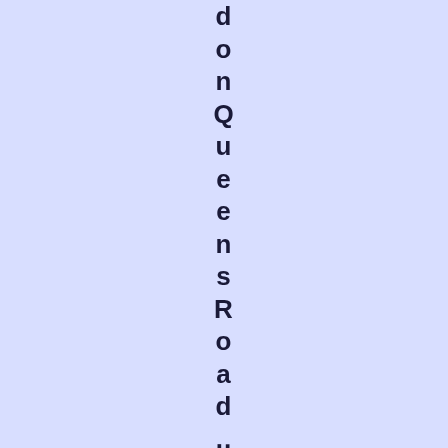donQueensRoad., Imagecourtesyof